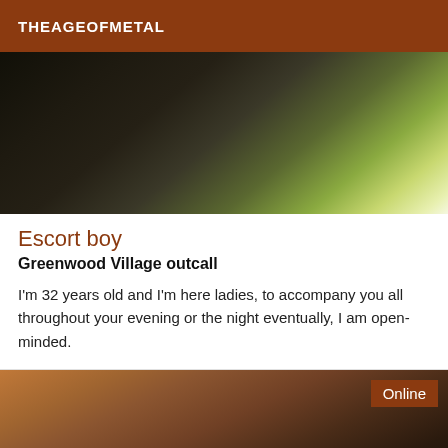THEAGEOFMETAL
[Figure (photo): Top portion of a person shown from chin/neck area, dark clothing, green background visible]
Escort boy
Greenwood Village outcall
I'm 32 years old and I'm here ladies, to accompany you all throughout your evening or the night eventually, I am open-minded.
[Figure (photo): Shirtless male torso showing muscular abdomen, lying back on a surface, with an 'Online' badge overlay in the top right corner]